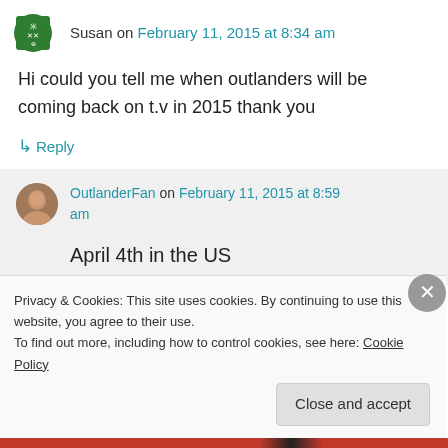Susan on February 11, 2015 at 8:34 am
Hi could you tell me when outlanders will be coming back on t.v in 2015 thank you
↳ Reply
OutlanderFan on February 11, 2015 at 8:59 am
April 4th in the US
Privacy & Cookies: This site uses cookies. By continuing to use this website, you agree to their use.
To find out more, including how to control cookies, see here: Cookie Policy
Close and accept